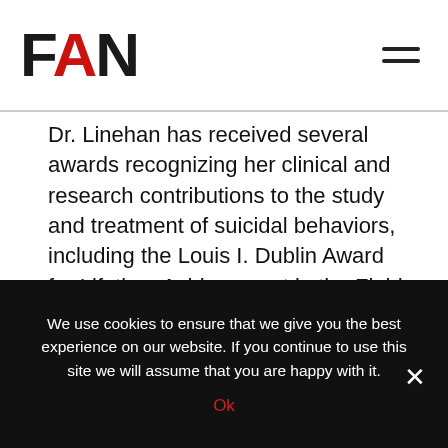FAN
Dr. Linehan has received several awards recognizing her clinical and research contributions to the study and treatment of suicidal behaviors, including the Louis I. Dublin Award for Lifetime Achievement in the Field of Suicide, the Distinguished Research in Suicide Award (American Foundation of Suicide Prevention), and the creation of the Marsha Linehan Award for Outstanding Research in the Treatment of Suicidal Behavior established by the American Association of Suicidology. She has also been recognized for her clinical research including the Distinguished Scientist Award from the Society for a Science of Clinical
We use cookies to ensure that we give you the best experience on our website. If you continue to use this site we will assume that you are happy with it.
Ok